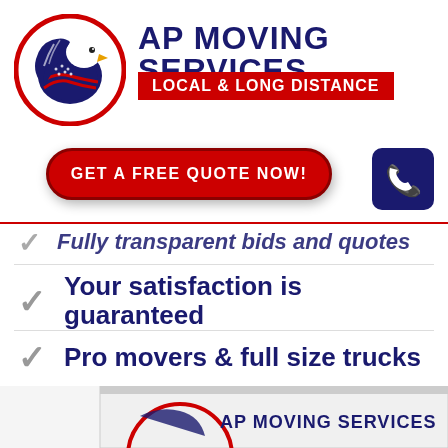[Figure (logo): AP Moving Services logo: bald eagle head with American flag pattern in a red circular border]
AP MOVING SERVICES
LOCAL & LONG DISTANCE
GET A FREE QUOTE NOW!
[Figure (illustration): Dark navy blue phone icon button]
Fully transparent bids and quotes
Your satisfaction is guaranteed
Pro movers & full size trucks
[Figure (logo): Partial AP Moving Services logo visible at bottom of page]